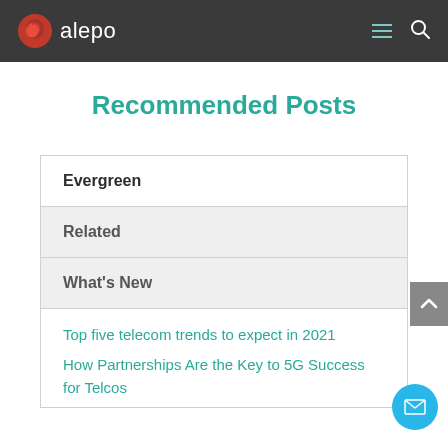alepo
Recommended Posts
Evergreen
Related
What's New
Top five telecom trends to expect in 2021
How Partnerships Are the Key to 5G Success for Telcos